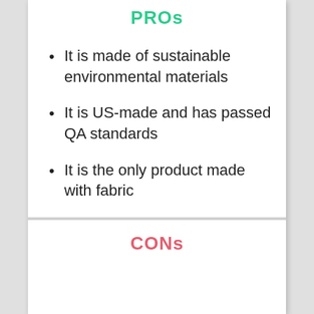PROs
It is made of sustainable environmental materials
It is US-made and has passed QA standards
It is the only product made with fabric
CONs